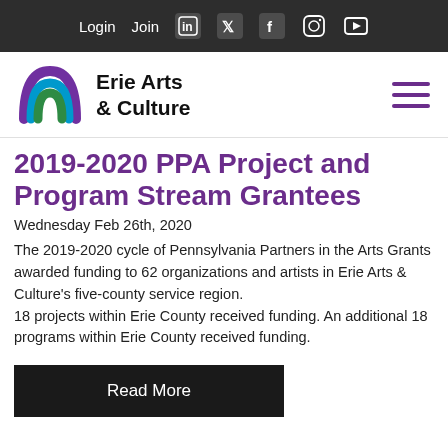Login  Join
[Figure (logo): Erie Arts & Culture logo with colorful arch (purple, blue, green) and bold text 'Erie Arts & Culture']
2019-2020 PPA Project and Program Stream Grantees
Wednesday Feb 26th, 2020
The 2019-2020 cycle of Pennsylvania Partners in the Arts Grants awarded funding to 62 organizations and artists in Erie Arts & Culture's five-county service region.
18 projects within Erie County received funding. An additional 18 programs within Erie County received funding.
Read More